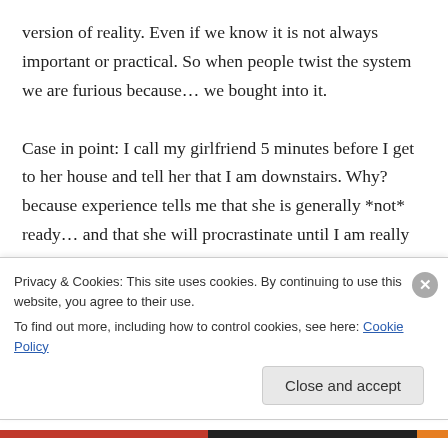version of reality. Even if we know it is not always important or practical. So when people twist the system we are furious because… we bought into it.

Case in point: I call my girlfriend 5 minutes before I get to her house and tell her that I am downstairs. Why? because experience tells me that she is generally *not* ready… and that she will procrastinate until I am really there (or thinks I am)
Privacy & Cookies: This site uses cookies. By continuing to use this website, you agree to their use.
To find out more, including how to control cookies, see here: Cookie Policy